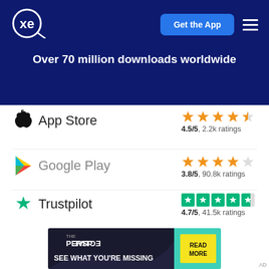[Figure (logo): XE currency app logo - white xe letters in a circle on dark navy background]
[Figure (other): Get the App button - blue rounded rectangle with white bold text]
Over 70 million downloads worldwide
[Figure (logo): Apple App Store logo with apple icon]
4.5/5, 2.2k ratings
[Figure (logo): Google Play logo with colorful triangle]
3.8/5, 90.8k ratings
[Figure (logo): Trustpilot logo with green star]
4.7/5, 41.5k ratings
[Figure (infographic): Advertisement banner: THE PERSPECTIVE - SEE WHAT YOU'RE MISSING with READ MORE yellow button on dark background with teal accent]